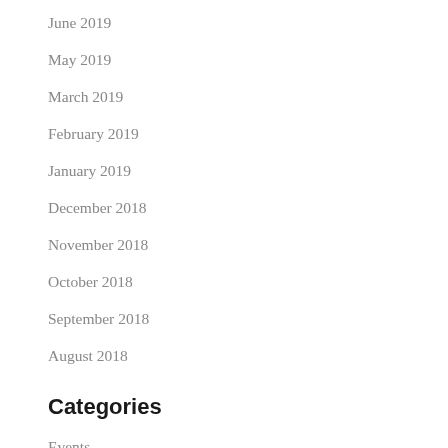June 2019
May 2019
March 2019
February 2019
January 2019
December 2018
November 2018
October 2018
September 2018
August 2018
Categories
Events
News